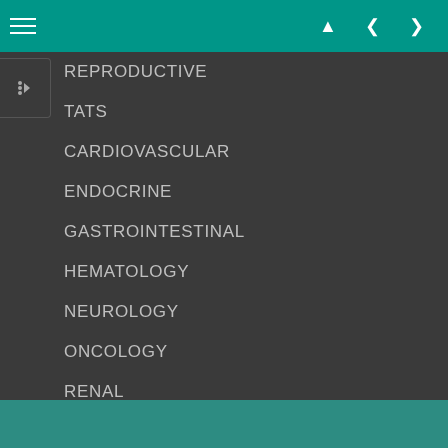Navigation menu with hamburger icon and navigation arrows
REPRODUCTIVE
TATS
CARDIOVASCULAR
ENDOCRINE
GASTROINTESTINAL
HEMATOLOGY
NEUROLOGY
ONCOLOGY
RENAL
RESPIRATORY
DERMATOLOGY
MSK
PSYCHIATRY
REST & REINFORCE